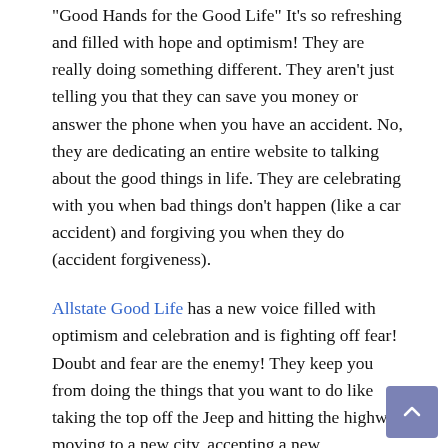“Good Hands for the Good Life” It’s so refreshing and filled with hope and optimism! They are really doing something different. They aren't just telling you that they can save you money or answer the phone when you have an accident. No, they are dedicating an entire website to talking about the good things in life. They are celebrating with you when bad things don’t happen (like a car accident) and forgiving you when they do (accident forgiveness).
Allstate Good Life has a new voice filled with optimism and celebration and is fighting off fear! Doubt and fear are the enemy! They keep you from doing the things that you want to do like taking the top off the Jeep and hitting the highway, moving to a new city, accepting a new